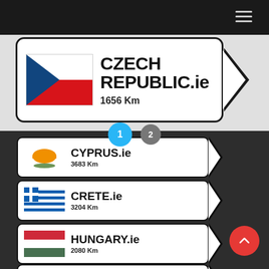[Figure (screenshot): Website screenshot showing road sign style navigation cards for European destinations. Top section shows Czech Republic.ie with 1656 Km, flag image, large sign shape on gray/white background with hamburger menu. Bottom dark section shows Cyprus.ie 3683 Km, Crete.ie 3204 Km, Hungary.ie 2080 Km, Sweden.ie (partially visible), each with country flags in road sign style shapes. Pagination dots (1 selected blue, 2 gray) visible. Red back-to-top button bottom right.]